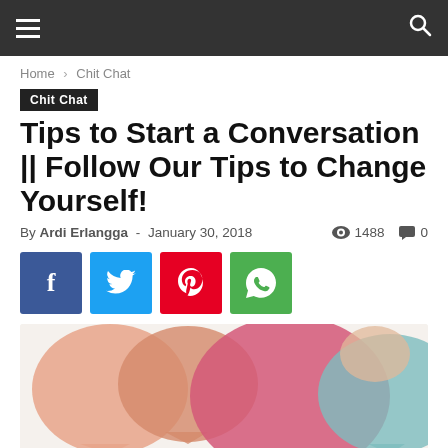Navigation bar with hamburger menu and search icon
Home › Chit Chat
Chit Chat
Tips to Start a Conversation || Follow Our Tips to Change Yourself!
By Ardi Erlangga - January 30, 2018  1488  0
[Figure (infographic): Social share buttons: Facebook (blue), Twitter (cyan), Pinterest (red), WhatsApp (green)]
[Figure (illustration): Colorful speech bubble icons: peach, orange, pink/magenta, teal/green — on a light background]